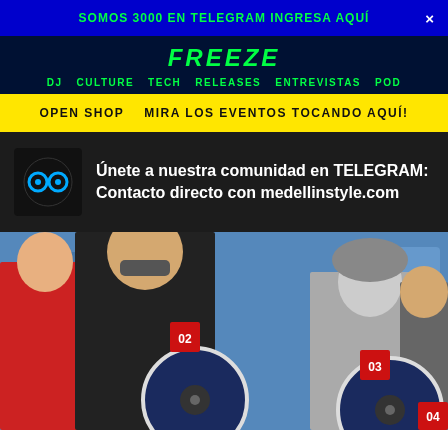SOMOS 3000 EN TELEGRAM INGRESA AQUÍ
FREEZE
DJ  CULTURE  TECH  RELEASES  ENTREVISTAS  POD
OPEN SHOP   MIRA LOS EVENTOS TOCANDO AQUÍ!
Únete a nuestra comunidad en TELEGRAM: Contacto directo con medellinstyle.com
[Figure (photo): DJ performers group photo with numbered badges 02, 03, 04 on blue background]